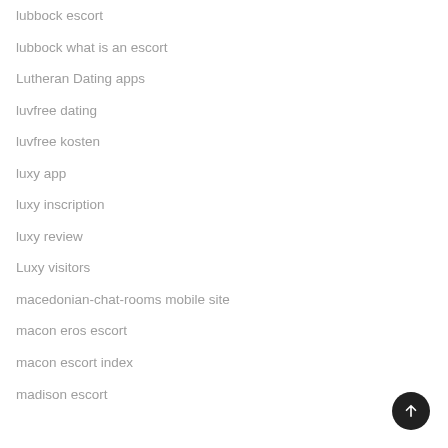lubbock escort
lubbock what is an escort
Lutheran Dating apps
luvfree dating
luvfree kosten
luxy app
luxy inscription
luxy review
Luxy visitors
macedonian-chat-rooms mobile site
macon eros escort
macon escort index
madison escort